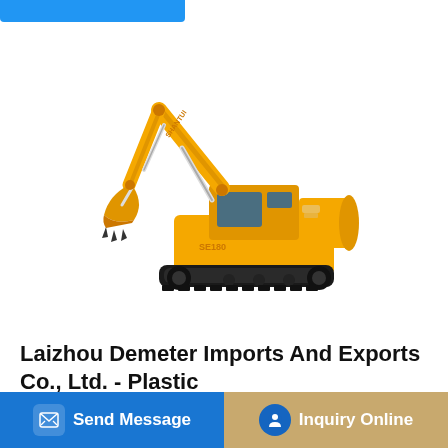[Figure (photo): Yellow Shantui tracked excavator/hydraulic excavator on white background, with extended boom arm and bucket]
Laizhou Demeter Imports And Exports Co., Ltd. - Plastic
Laizhou Demeter Imports And Exports Co., Ltd., Experts in Manufacturing and Exporting Plastic Products
Send Message
Inquiry Online